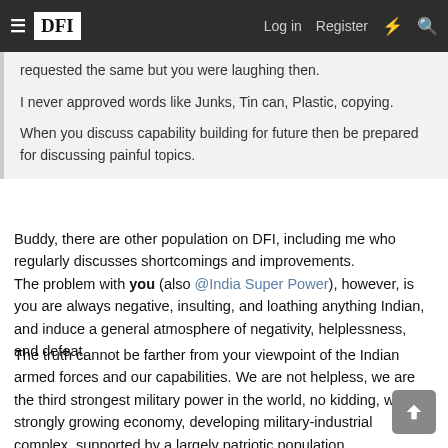DFI — Log in  Register
requested the same but you were laughing then.

I never approved words like Junks, Tin can, Plastic, copying.

When you discuss capability building for future then be prepared for discussing painful topics.
Buddy, there are other population on DFI, including me who regularly discusses shortcomings and improvements.
The problem with you (also @India Super Power), however, is you are always negative, insulting, and loathing anything Indian, and induce a general atmosphere of negativity, helplessness, and defeat.
The truth cannot be farther from your viewpoint of the Indian armed forces and our capabilities. We are not helpless, we are the third strongest military power in the world, no kidding, with a strongly growing economy, developing military-industrial complex, supported by a largely patriotic population.